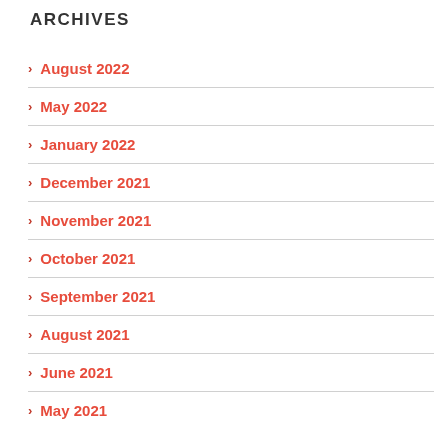ARCHIVES
August 2022
May 2022
January 2022
December 2021
November 2021
October 2021
September 2021
August 2021
June 2021
May 2021